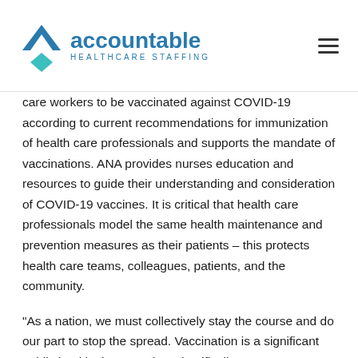accountable HEALTHCARE STAFFING
care workers to be vaccinated against COVID-19 according to current recommendations for immunization of health care professionals and supports the mandate of vaccinations. ANA provides nurses education and resources to guide their understanding and consideration of COVID-19 vaccines. It is critical that health care professionals model the same health maintenance and prevention measures as their patients – this protects health care teams, colleagues, patients, and the community.
“As a nation, we must collectively stay the course and do our part to stop the spread. Vaccination is a significant public health victory and a scientifically proven strategy to slow the spread of COVID-19 and prevent the loss of more American lives,” said Dr.